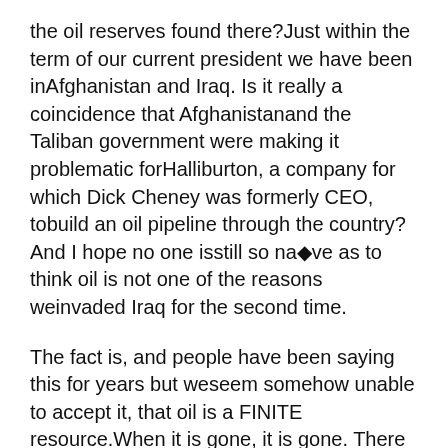the oil reserves found there?Just within the term of our current president we have been inAfghanistan and Iraq. Is it really a coincidence that Afghanistanand the Taliban government were making it problematic forHalliburton, a company for which Dick Cheney was formerly CEO, tobuild an oil pipeline through the country? And I hope no one isstill so naïve as to think oil is not one of the reasons weinvaded Iraq for the second time.
The fact is, and people have been saying this for years but weseem somehow unable to accept it, that oil is a FINITE resource.When it is gone, it is gone. There is absolutely no sense incontinuing to develop an economy around its use. World populationis also continuing to grow